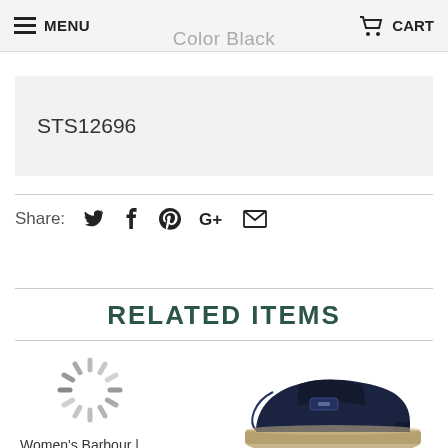MENU  CART
Color Black
STS12696
Share:
RELATED ITEMS
Women's Barbour | Kingham Boot |
[Figure (photo): Dark navy leather loafer/moc shoe with tan sole]
[Figure (illustration): Loading spinner icon (gray radial dashes)]